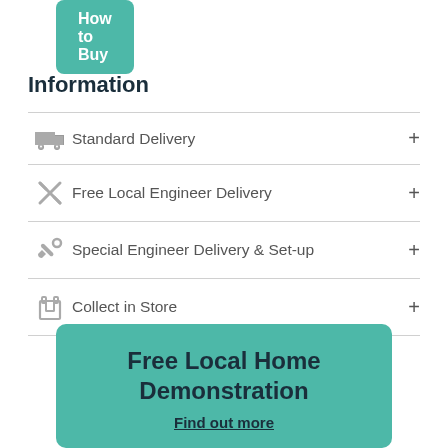[Figure (other): How to Buy button — teal rounded rectangle with white bold text]
Information
Standard Delivery
Free Local Engineer Delivery
Special Engineer Delivery & Set-up
Collect in Store
Free Local Home Demonstration
Find out more